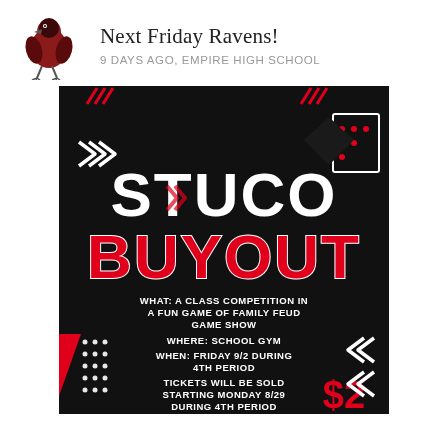Next Friday Ravens! — 9 DAYS AGO, EMPIRE HIGH SCHOOL
[Figure (infographic): STUCO BUYOUT flyer on black background with red and white decorative elements. Text: STUCO BUYOUT. WHAT: A CLASS COMPETITION IN A FUN GAME OF FAMILY FEUD GAME SHOW. WHERE: SCHOOL GYM. WHEN: FRIDAY 9/2 DURING 4TH PERIOD. TICKETS WILL BE SOLD STARTING MONDAY 8/29 DURING 4TH PERIOD. $2. PLEASE MAKE SURE TO BRING EXACT CHANGE.]